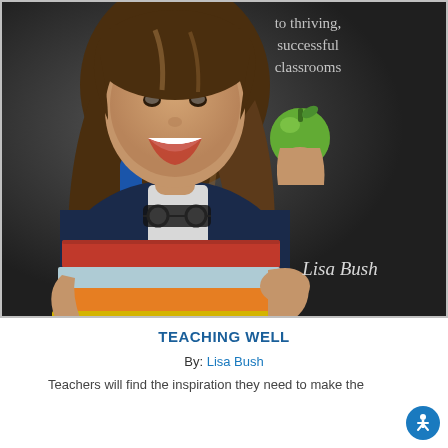[Figure (photo): Book cover photo of a smiling young woman holding a stack of colorful books and a green apple, wearing a dark blue jacket with a backpack, against a dark chalkboard background. Text overlay reads 'to thriving, successful classrooms' and 'Lisa Bush'.]
TEACHING WELL
By: Lisa Bush
Teachers will find the inspiration they need to make the